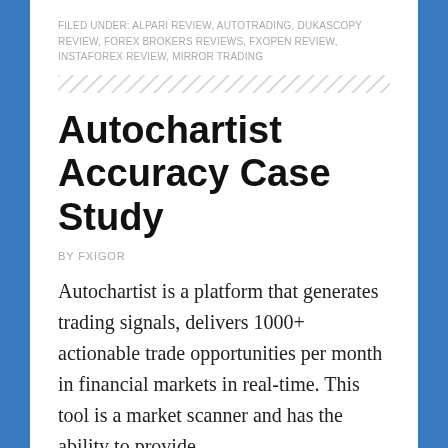FILED UNDER: ALPARI REVIEW, AUTOTRADING, DUKASCOPY REVIEW, FOREX BROKERS REVIEWS, FXOPEN REVIEW, INSTAFOREX REVIEW, MIRROR TRADING
[Figure (illustration): Diagonal hatching / divider line pattern]
Autochartist Accuracy Case Study
BY FXIGOR
Autochartist is a platform that generates trading signals, delivers 1000+ actionable trade opportunities per month in financial markets in real-time. This tool is a market scanner and has the ability to provide